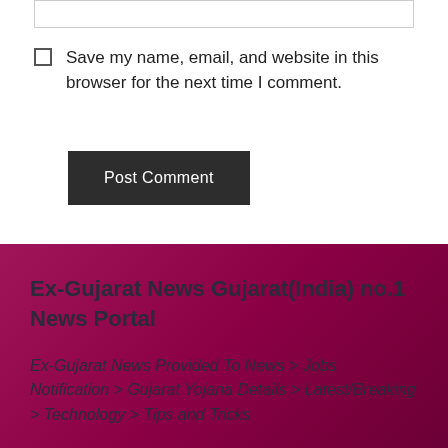Save my name, email, and website in this browser for the next time I comment.
Post Comment
Ex-Gujarat News Gujarat(India) no.1 News Portal
Ex-Gujarat News Provided To News > Jobs Notification > Gujarat Yojana Details > Latest/Breaking > Technology > Tips and Tricks